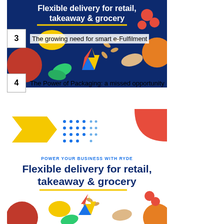[Figure (illustration): Top portion of a dark navy blue banner with white bold text 'Flexible delivery for retail, takeaway & grocery', yellow underline, and colorful fruits/food items decorating corners. Also contains a lightning bolt logo in red, yellow, blue.]
3   The growing need for smart e-Fulfilment
4   The Power of Packaging: a missed opportunity
[Figure (illustration): Decorative white section with yellow arrow/chevron shape on the left, blue dot pattern, and a red quarter circle in the upper right corner.]
[Figure (illustration): Full white banner with text: 'POWER YOUR BUSINESS WITH RYDE' (blue, uppercase small), then large navy bold text 'Flexible delivery for retail, takeaway & grocery', yellow underline, and fruit/food decorations at the bottom including pomegranate, lemon, tomatoes, almonds, ginger, herbs, and a lightning bolt logo.]